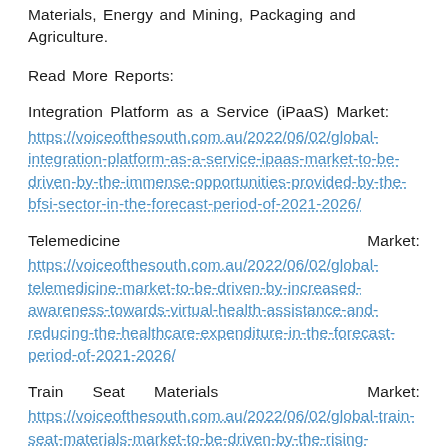Materials, Energy and Mining, Packaging and Agriculture.
Read More Reports:
Integration Platform as a Service (iPaaS) Market: https://voiceofthesouth.com.au/2022/06/02/global-integration-platform-as-a-service-ipaas-market-to-be-driven-by-the-immense-opportunities-provided-by-the-bfsi-sector-in-the-forecast-period-of-2021-2026/
Telemedicine Market: https://voiceofthesouth.com.au/2022/06/02/global-telemedicine-market-to-be-driven-by-increased-awareness-towards-virtual-health-assistance-and-reducing-the-healthcare-expenditure-in-the-forecast-period-of-2021-2026/
Train Seat Materials Market: https://voiceofthesouth.com.au/2022/06/02/global-train-seat-materials-market-to-be-driven-by-the-rising-demand-for-electronic-trains-industry-in-the-forecast